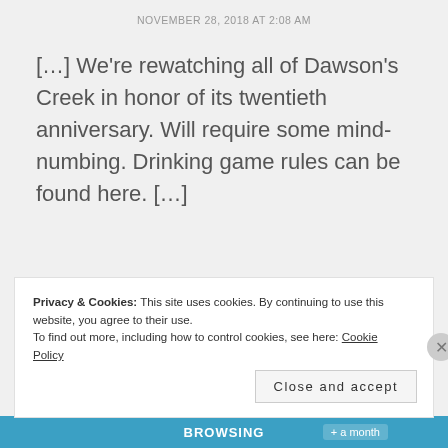NOVEMBER 28, 2018 AT 2:08 AM
[…] We're rewatching all of Dawson's Creek in honor of its twentieth anniversary. Will require some mind-numbing. Drinking game rules can be found here. […]
★ Like
Reply
Privacy & Cookies: This site uses cookies. By continuing to use this website, you agree to their use.
To find out more, including how to control cookies, see here: Cookie Policy
Close and accept
BROWSING